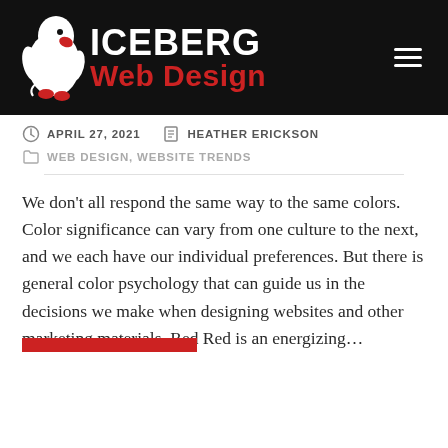[Figure (logo): Iceberg Web Design logo with white penguin icon and text ICEBERG in white, Web Design in red, on black background]
APRIL 27, 2021   HEATHER ERICKSON   WEB DESIGN, WEBSITE TRENDS
We don't all respond the same way to the same colors. Color significance can vary from one culture to the next, and we each have our individual preferences. But there is general color psychology that can guide us in the decisions we make when designing websites and other marketing materials. Red Red is an energizing…